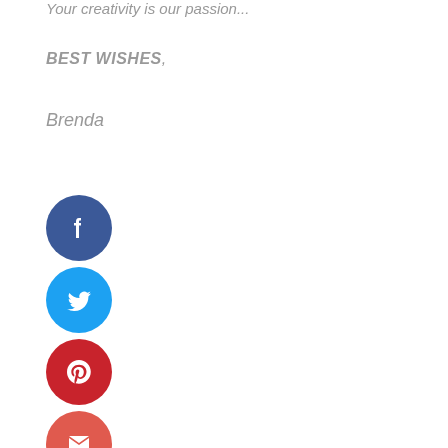Your creativity is our passion...
BEST WISHES,
Brenda
[Figure (infographic): Vertical row of social media icon buttons: Facebook (dark blue), Twitter (light blue), Pinterest (red), Email (coral red), LinkedIn (blue), Heart/Favorites (coral red)]